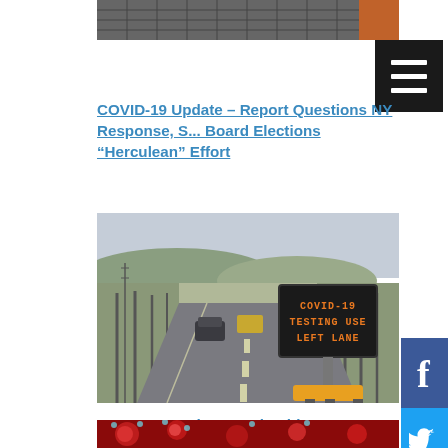[Figure (photo): Partial view of a dark mesh/grid structure with an orange element at upper right, cropped at top of page]
[Figure (other): Black hamburger menu button with three white horizontal lines]
COVID-19 Update – Report Questions NY Response, S... Board Elections “Herculean” Effort
[Figure (photo): Road scene with cars driving on a two-lane road, bare winter trees lining the sides, hills in background, and an electronic road sign reading 'COVID-19 TESTING USE LEFT LANE']
[Figure (other): Facebook share button (blue with f icon)]
[Figure (other): Twitter share button (blue with bird icon)]
[Figure (other): Reddit share button (orange with alien icon)]
[Figure (other): Gray circular next/arrow button]
COVID-19 Update – Columbia Co. Accuses Nursing Home of Misrepresenting Deaths, Vaccine Trial Questioned
[Figure (photo): Microscopic view of red coronavirus particles on red background, partial view at bottom of page]